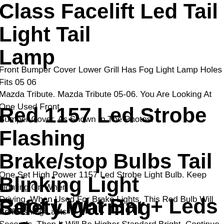Class Facelift Led Tail Light Tail Lamp
Front Bumper Cover Lower Grill Has Fog Light Lamp Holes Fits 05 06 Mazda Tribute. Mazda Tribute 05-06. You Are Looking At One Used Front Bumper Cover, As Shown In The Photos.
Red 1157 Led Strobe Flashing Brake/stop Bulbs Tail Blinking Light Safety Warning
One Set High Power 1157 Led Strobe Light Bulb. Keep Lighting On When Driving, When Used For Brake Lights, This Red Bulb Will Be Flashing Lasts Seconds, Then It Will Be Higher Standard Bright. Continue Flashing Function When Brake Lights Turn On.
Roof Light Bar + Leds + Spots + Beacons To Fit Volvo Fm4 Euro6